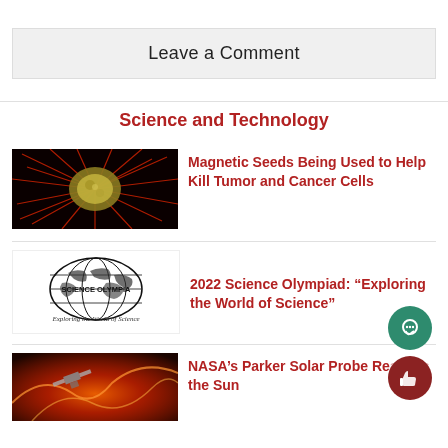Leave a Comment
Science and Technology
[Figure (photo): Microscopic image of a cancer/tumor cell with red spiky tendrils on a dark background]
Magnetic Seeds Being Used to Help Kill Tumor and Cancer Cells
[Figure (logo): Science Olympiad logo: globe with text SCIENCE OLYMPIAD and tagline Exploring the World of Science]
2022 Science Olympiad: “Exploring the World of Science”
[Figure (photo): NASA Parker Solar Probe image near the Sun with fiery solar background]
NASA’s Parker Solar Probe Re[aches] the Sun